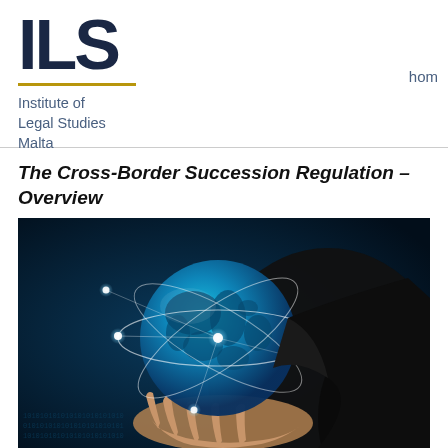[Figure (logo): ILS Institute of Legal Studies Malta logo with gold underline]
hom
The Cross-Border Succession Regulation – Overview
[Figure (photo): A person in a dark suit holding a glowing blue globe with orbital rings and light flares, set against a dark blue digital background]